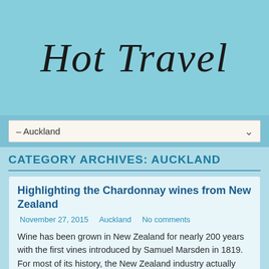Hot Travel
– Auckland
CATEGORY ARCHIVES: AUCKLAND
Highlighting the Chardonnay wines from New Zealand
November 27, 2015   Auckland   No comments
Wine has been grown in New Zealand for nearly 200 years with the first vines introduced by Samuel Marsden in 1819. For most of its history, the New Zealand industry actually focused on producing fortified wines for the local community, due to their greater emphasis on animal agriculture and a preference for beer and spirits.
This all changed during the 60's and 70's when Britain entered the EEC…